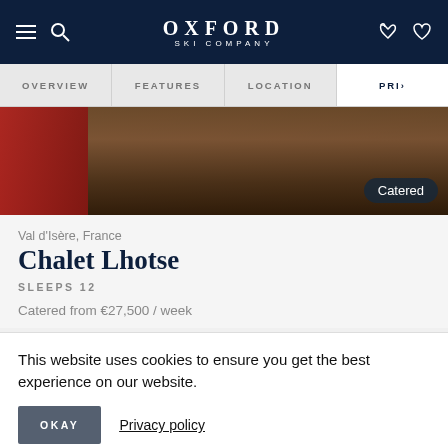OXFORD SKI COMPANY
OVERVIEW  FEATURES  LOCATION  PRICING
[Figure (photo): Interior photo of a chalet showing wooden floor, red book/item on left, and fur/textile in the background. A 'Catered' badge is overlaid at bottom right.]
Val d'Isère, France
Chalet Lhotse
SLEEPS 12
Catered from €27,500 / week
This website uses cookies to ensure you get the best experience on our website.
OKAY    Privacy policy